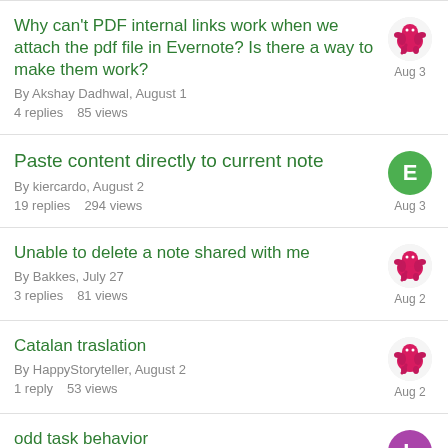Why can't PDF internal links work when we attach the pdf file in Evernote? Is there a way to make them work?
By Akshay Dadhwal, August 1
4 replies    85 views
Aug 3
Paste content directly to current note
By kiercardo, August 2
19 replies    294 views
Aug 3
Unable to delete a note shared with me
By Bakkes, July 27
3 replies    81 views
Aug 2
Catalan traslation
By HappyStoryteller, August 2
1 reply    53 views
Aug 2
odd task behavior